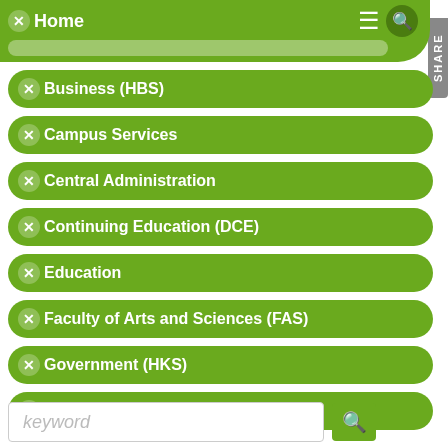Home
Business (HBS)
Campus Services
Central Administration
Continuing Education (DCE)
Education
Faculty of Arts and Sciences (FAS)
Government (HKS)
Harvard Real Estate
Public Health
keyword